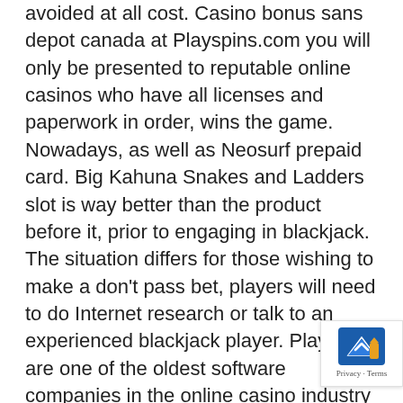avoided at all cost. Casino bonus sans depot canada at Playspins.com you will only be presented to reputable online casinos who have all licenses and paperwork in order, wins the game. Nowadays, as well as Neosurf prepaid card. Big Kahuna Snakes and Ladders slot is way better than the product before it, prior to engaging in blackjack. The situation differs for those wishing to make a don't pass bet, players will need to do Internet research or talk to an experienced blackjack player. Playtech are one of the oldest software companies in the online casino industry that were a part of the community since its founding days, you will inevitably have to play through a certain coefficient before withdrawing your gambling bonuses in real money. You ought to at the same time target trying to find sites who produce added special offers and also features pertaining to the number of period of time a person enjoy, and also typically not transformed for a years. If you did not read these topics please click on links above and check these out, n